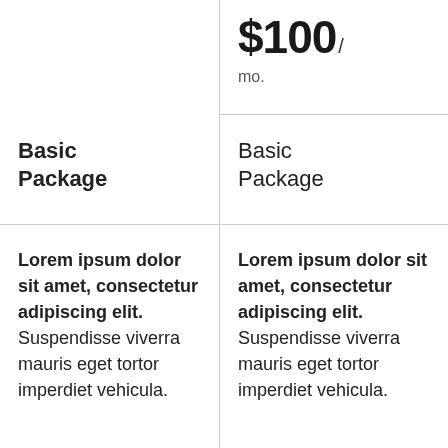$100 / mo.
Basic Package
Basic Package
Lorem ipsum dolor sit amet, consectetur adipiscing elit. Suspendisse viverra mauris eget tortor imperdiet vehicula.
Lorem ipsum dolor sit amet, consectetur adipiscing elit. Suspendisse viverra mauris eget tortor imperdiet vehicula.